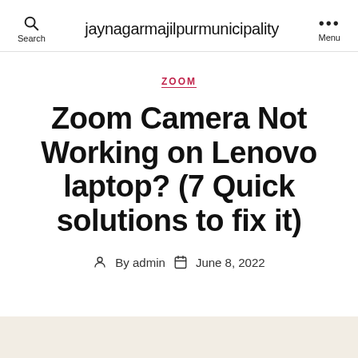jaynagarmajilpurmunicipality
ZOOM
Zoom Camera Not Working on Lenovo laptop? (7 Quick solutions to fix it)
By admin   June 8, 2022